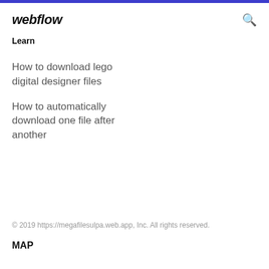webflow
Learn
How to download lego digital designer files
How to automatically download one file after another
© 2019 https://megafilesulpa.web.app, Inc. All rights reserved.
MAP